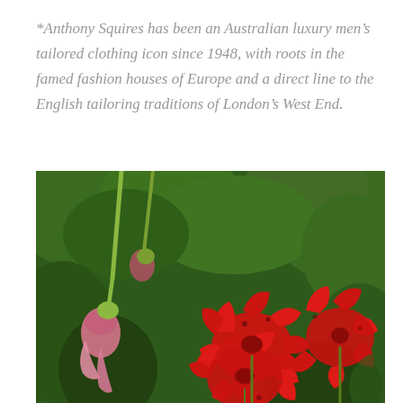*Anthony Squires has been an Australian luxury men's tailored clothing icon since 1948, with roots in the famed fashion houses of Europe and a direct line to the English tailoring traditions of London's West End.
[Figure (photo): Close-up photograph of bright red geranium flowers in bloom, with large dark green leaves in the background and a drooping pink/white fuchsia bud on the left side.]